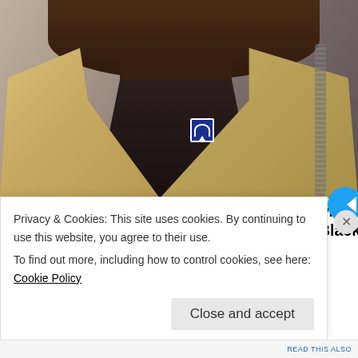[Figure (photo): Close-up photo of a Black man wearing a cream/tan blazer over a black shirt, with a blue Hall of Fame pin on the lapel and a chain necklace visible on the right side. The face is cropped at the top.]
Terrell Owens finds out the hard way that white wo... perfected weaponizing their tears against Black m...
The Grio
Share this:
Privacy & Cookies: This site uses cookies. By continuing to use this website, you agree to their use.
To find out more, including how to control cookies, see here: Cookie Policy
Close and accept